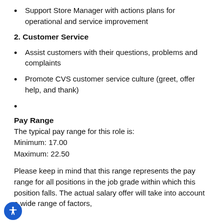Support Store Manager with actions plans for operational and service improvement
2. Customer Service
Assist customers with their questions, problems and complaints
Promote CVS customer service culture (greet, offer help, and thank)
Pay Range
The typical pay range for this role is:
Minimum: 17.00
Maximum: 22.50
Please keep in mind that this range represents the pay range for all positions in the job grade within which this position falls. The actual salary offer will take into account a wide range of factors,